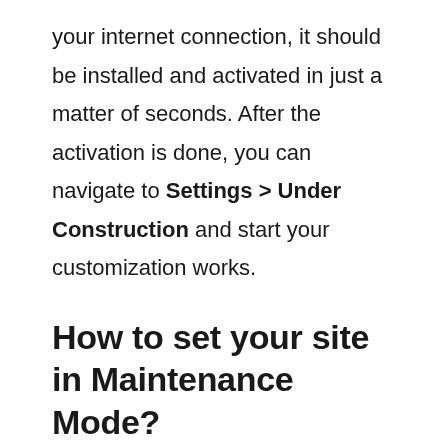your internet connection, it should be installed and activated in just a matter of seconds. After the activation is done, you can navigate to Settings > Under Construction and start your customization works.
How to set your site in Maintenance Mode?
You just need to click one button to put your site in Under Construction or Maintenance mode. Sounds interesting, right? If you are in a